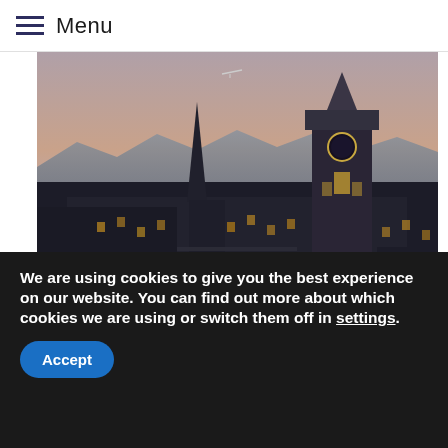Menu
[Figure (photo): Aerial dusk cityscape of Edinburgh showing Victorian architecture including a large clock tower (Balmoral Hotel), a Gothic church spire, and mountains in the background with a pink and grey sky.]
We are using cookies to give you the best experience on our website. You can find out more about which cookies we are using or switch them off in settings.
Accept